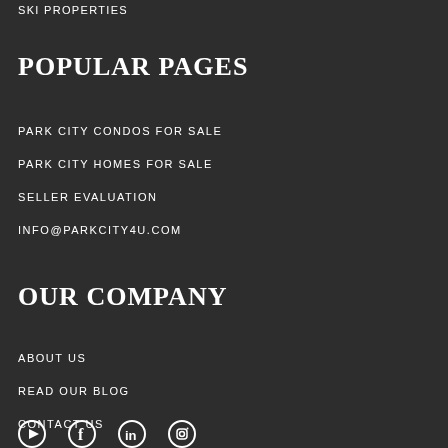SKI PROPERTIES
POPULAR PAGES
PARK CITY CONDOS FOR SALE
PARK CITY HOMES FOR SALE
SELLER EVALUATION
INFO@PARKCITY4U.COM
OUR COMPANY
ABOUT US
READ OUR BLOG
CONTACT US
[Figure (other): Social media icons: YouTube, Facebook, LinkedIn, Instagram]